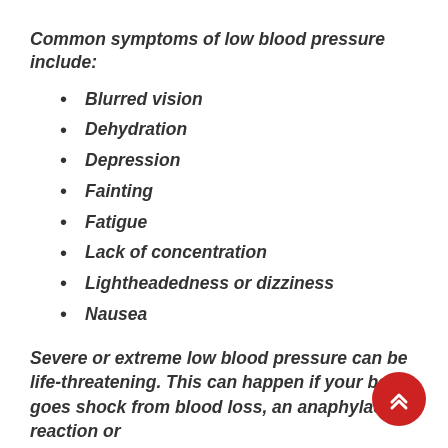Common symptoms of low blood pressure include:
Blurred vision
Dehydration
Depression
Fainting
Fatigue
Lack of concentration
Lightheadedness or dizziness
Nausea
Severe or extreme low blood pressure can be life-threatening. This can happen if your body goes shock from blood loss, an anaphylactic reaction or